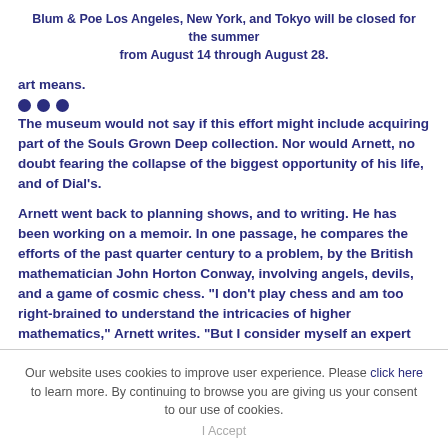Blum & Poe Los Angeles, New York, and Tokyo will be closed for the summer from August 14 through August 28.
art means.
The museum would not say if this effort might include acquiring part of the Souls Grown Deep collection. Nor would Arnett, no doubt fearing the collapse of the biggest opportunity of his life, and of Dial's.
Arnett went back to planning shows, and to writing. He has been working on a memoir. In one passage, he compares the efforts of the past quarter century to a problem, by the British mathematician John Horton Conway, involving angels, devils, and a game of cosmic chess. "I don't play chess and am too right-brained to understand the intricacies of higher mathematics," Arnett writes. "But I consider myself an expert on the visual arts of the African-American South along with the cultural politics of the region. It is my nervous and trembling, but history-based and always optimistic, prediction that great culture will outlast corrupt bureaucrats and their heavy-handed abuses of power, and the greed-driven, callous, and destructive tactics of bloodless profiteers. So, metaphorically speaking, I am
Our website uses cookies to improve user experience. Please click here to learn more. By continuing to browse you are giving us your consent to our use of cookies. I Accept